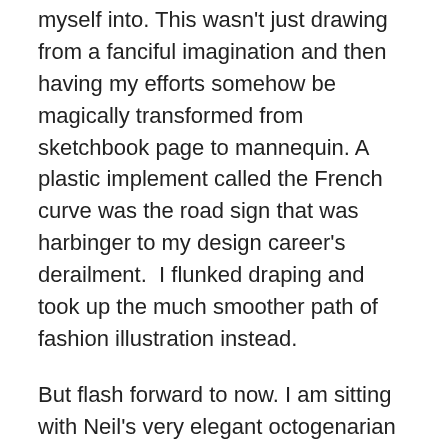myself into. This wasn't just drawing from a fanciful imagination and then having my efforts somehow be magically transformed from sketchbook page to mannequin. A plastic implement called the French curve was the road sign that was harbinger to my design career's derailment.  I flunked draping and took up the much smoother path of fashion illustration instead.
But flash forward to now. I am sitting with Neil's very elegant octogenarian mother, Jo Ella, as her layered bracelets softly jingle to effortless stitches. She is coaxing the hand-made bias tape around the curves of a lingerie bag that she is helping me assemble. The design is her own mother's, an envelope bag for ladies' “unmentionables.” I marvel at the way her hands adeptly handle the fabric and manage the tiny invisible stitches. She and her mother were professional seamstresses from